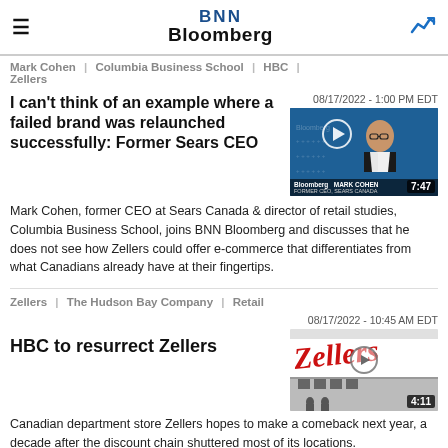BNN Bloomberg
Mark Cohen | Columbia Business School | HBC | Zellers
08/17/2022 - 1:00 PM EDT
[Figure (photo): Video thumbnail of Mark Cohen, former CEO at Sears Canada, with Bloomberg lower-third graphic. Duration 7:47.]
I can't think of an example where a failed brand was relaunched successfully: Former Sears CEO
Mark Cohen, former CEO at Sears Canada & director of retail studies, Columbia Business School, joins BNN Bloomberg and discusses that he does not see how Zellers could offer e-commerce that differentiates from what Canadians already have at their fingertips.
Zellers | The Hudson Bay Company | Retail
08/17/2022 - 10:45 AM EDT
[Figure (photo): Video thumbnail showing Zellers store sign in red script. Duration 4:11.]
HBC to resurrect Zellers
Canadian department store Zellers hopes to make a comeback next year, a decade after the discount chain shuttered most of its locations.